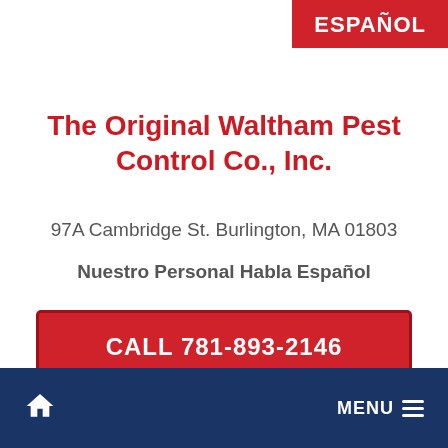ESPAÑOL
The Original Waltham Pest Control Co., Inc.
97A Cambridge St. Burlington, MA 01803
Nuestro Personal Habla Español
CALL 781-893-2146
🏠  MENU ≡